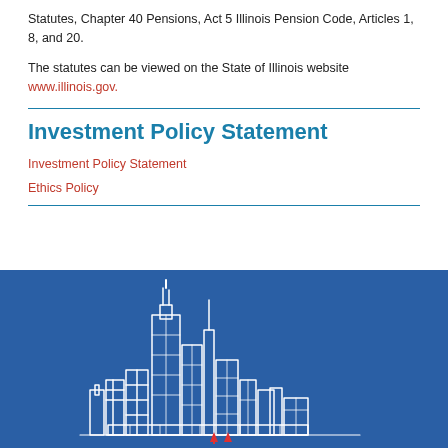Statutes, Chapter 40 Pensions, Act 5 Illinois Pension Code, Articles 1, 8, and 20.
The statutes can be viewed on the State of Illinois website www.illinois.gov.
Investment Policy Statement
Investment Policy Statement
Ethics Policy
[Figure (illustration): White line-art illustration of Chicago city skyline on a dark blue background, with a small red arrow/symbol at the bottom center.]